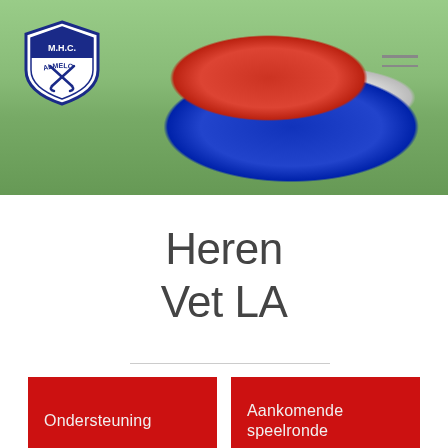[Figure (photo): Header photo of a hockey player in blue and red clothing on a green field, with MHC Almelo club logo in top left and hamburger menu icon top right]
Heren Vet LA
Ondersteuning
Aankomende speelronde
Verslagen